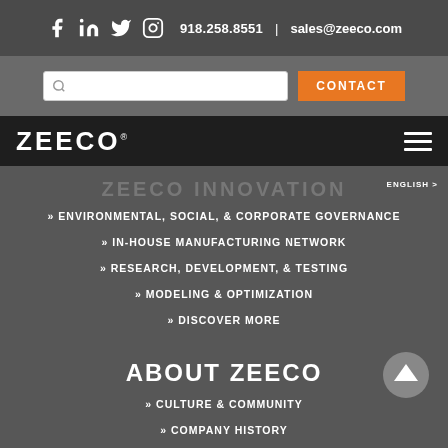918.258.8551 | sales@zeeco.com
[Figure (screenshot): Zeeco website navigation screenshot showing logo, search bar, contact button, hamburger menu, ZEECO INNOVATION menu section with sub-items, and ABOUT ZEECO section]
ZEECO INNOVATION
» ENVIRONMENTAL, SOCIAL, & CORPORATE GOVERNANCE
» IN-HOUSE MANUFACTURING NETWORK
» RESEARCH, DEVELOPMENT, & TESTING
» MODELING & OPTIMIZATION
» DISCOVER MORE
ABOUT ZEECO
» CULTURE & COMMUNITY
» COMPANY HISTORY